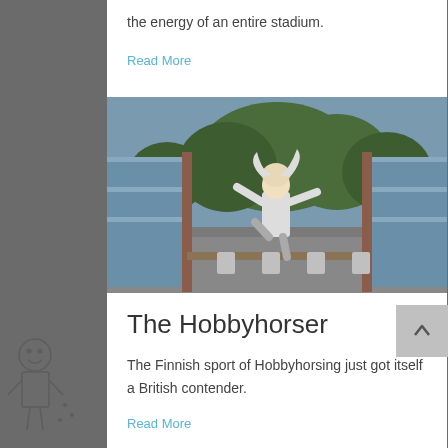the energy of an entire stadium.
Read More
[Figure (photo): Person performing a hobbyhorsing jump over a wooden bar in a parking area with garage doors on both sides. Trees visible in background.]
The Hobbyhorser
The Finnish sport of Hobbyhorsing just got itself a British contender.
Read More